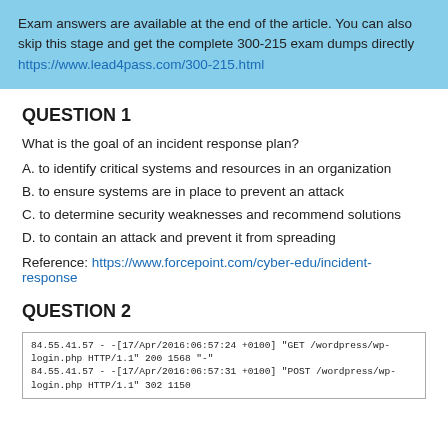Exam answers are available at the end of the article. You can also skip this stage and get the complete 300-215 exam dumps directly https://www.lead4pass.com/300-215.html
QUESTION 1
What is the goal of an incident response plan?
A. to identify critical systems and resources in an organization
B. to ensure systems are in place to prevent an attack
C. to determine security weaknesses and recommend solutions
D. to contain an attack and prevent it from spreading
Reference: https://www.forcepoint.com/cyber-edu/incident-response
QUESTION 2
[Figure (screenshot): Log entries showing HTTP GET and POST requests to wordpress/wp-login.php from IP 84.55.41.57]